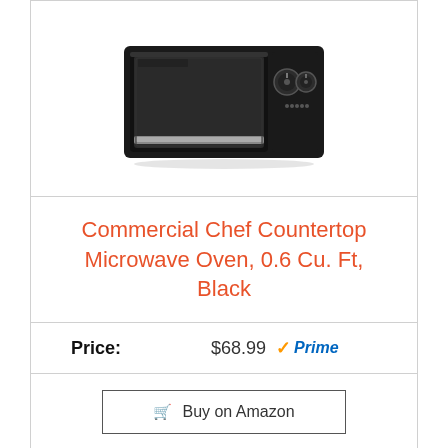[Figure (photo): Black Commercial Chef countertop microwave oven, front view with knob controls]
Commercial Chef Countertop Microwave Oven, 0.6 Cu. Ft, Black
Price: $68.99 Prime
Buy on Amazon
[Figure (photo): Stainless steel countertop microwave oven with digital display, partially visible]